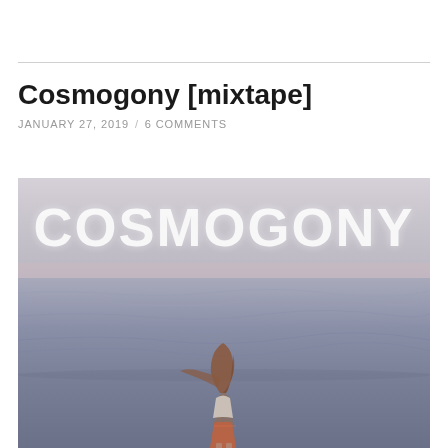Cosmogony [mixtape]
JANUARY 27, 2019  /  6 COMMENTS
[Figure (photo): A young woman with long red/auburn hair stands facing away from the camera toward an ocean. The sky is hazy and light. In large white block letters the word COSMOGONY appears across the upper portion of the image.]